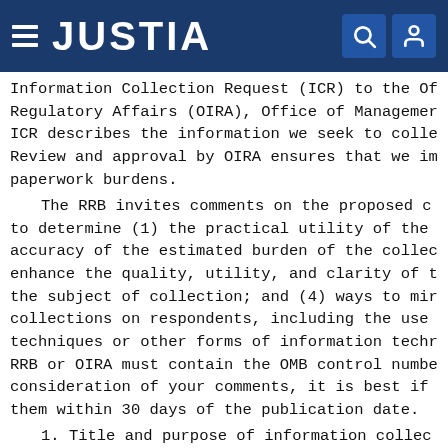JUSTIA
Information Collection Request (ICR) to the Office of Information and Regulatory Affairs (OIRA), Office of Management and Budget. The ICR describes the information we seek to collect and how we will use it. Review and approval by OIRA ensures that we impose appropriate paperwork burdens.
The RRB invites comments on the proposed collection of information to determine (1) the practical utility of the information collected; (2) the accuracy of the estimated burden of the collection; (3) ways to enhance the quality, utility, and clarity of the information that is the subject of collection; and (4) ways to minimize the burden of information collections on respondents, including the use of automated collection techniques or other forms of information technology. Comments to the RRB or OIRA must contain the OMB control number. To ensure timely consideration of your comments, it is best if RRB and OIRA receive them within 30 days of the publication date.
1. Title and purpose of information collection: Certification; OMB 3220-0149